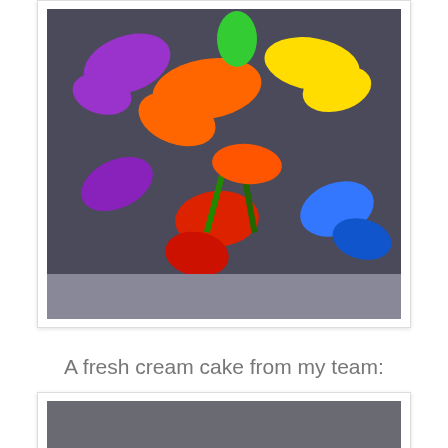[Figure (photo): Colorful balloon animal sculpture made from twisted balloons in purple, orange, yellow, red, green, and blue colors, arranged in a flower/bird shape on a table background.]
A fresh cream cake from my team:
[Figure (photo): A fresh cream cake topped with strawberries, a blueberry, green mint leaves, and dark chocolate disc decorations arranged on a yellow cream surface.]